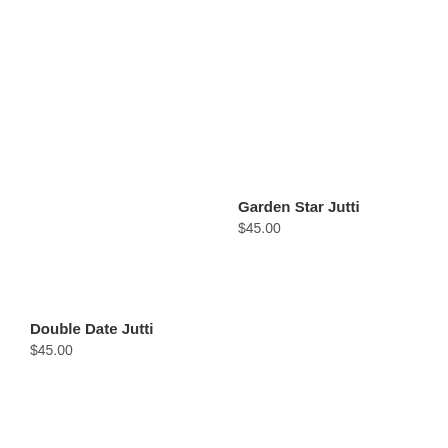Garden Star Jutti
$45.00
Double Date Jutti
$45.00